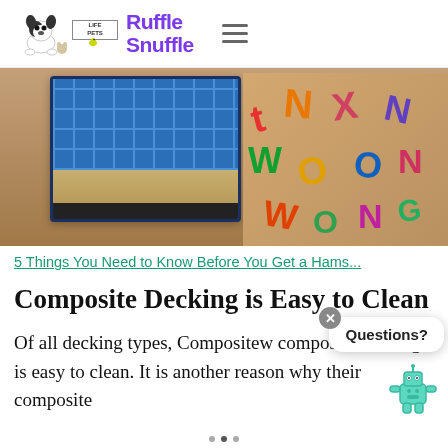[Figure (logo): Ruffle Snuffle Life Pets logo with cartoon French bulldog and other pets, colorful purple and orange text]
[Figure (photo): Photo of a hamster cage with blue wire mesh top, sand bedding, and colorful alphabet letters on a wooden surface]
5 Things You Need to Know Before You Get a Hams...
Composite Decking is Easy to Clean
Of all decking types, Compositew... composite decking is easy to clean. It is another reason why their composite...
[Figure (illustration): Chat widget with close X button, Questions? text bubble, and teal robot dog icon]